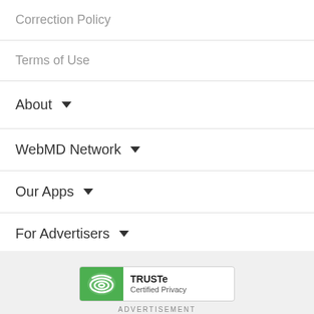Correction Policy
Terms of Use
About
WebMD Network
Our Apps
For Advertisers
[Figure (logo): TRUSTe Certified Privacy badge with green icon and text]
ADVERTISEMENT